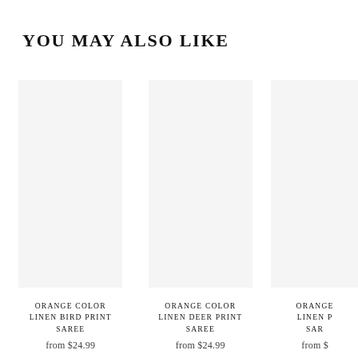YOU MAY ALSO LIKE
[Figure (photo): Product image placeholder for Orange Color Linen Bird Print Saree]
ORANGE COLOR LINEN BIRD PRINT SAREE
from $24.99
[Figure (photo): Product image placeholder for Orange Color Linen Deer Print Saree]
ORANGE COLOR LINEN DEER PRINT SAREE
from $24.99
[Figure (photo): Product image placeholder for partially visible Orange Color Linen P... Sar...]
ORANGE LINEN P SAR
from $